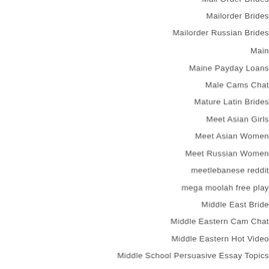Mail Order Brides
Mailorder Brides
Mailorder Russian Brides
Main
Maine Payday Loans
Male Cams Chat
Mature Latin Brides
Meet Asian Girls
Meet Asian Women
Meet Russian Women
meetlebanese reddit
mega moolah free play
Middle East Bride
Middle Eastern Cam Chat
Middle Eastern Hot Video
Middle School Persuasive Essay Topics